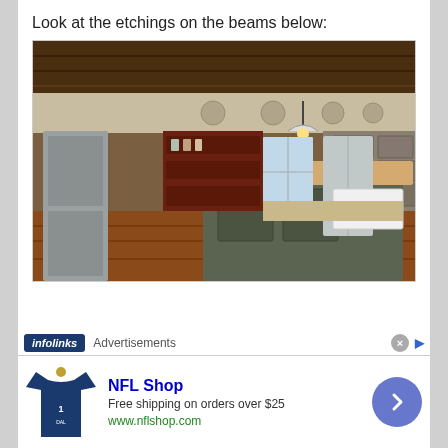Look at the etchings on the beams below:
[Figure (photo): Interior photo of a rustic kitchen with stone walls, wooden ceiling with carved beams, a large kitchen island with butcher block top, stainless steel refrigerator, open shelving with jars, and hardwood floors.]
infolinks  Advertisements
[Figure (infographic): NFL Shop advertisement showing a Dallas Cowboys jersey, text 'NFL Shop', 'Free shipping on orders over $25', 'www.nflshop.com', and a blue arrow button.]